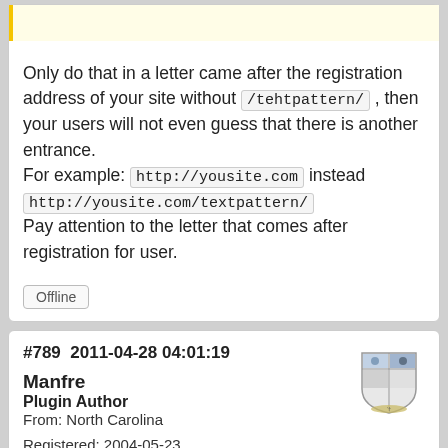Only do that in a letter came after the registration address of your site without /tehtpattern/ , then your users will not even guess that there is another entrance. For example: http://yousite.com instead http://yousite.com/textpattern/ Pay attention to the letter that comes after registration for user.
Offline
#789 2011-04-28 04:01:19
Manfre
Plugin Author
From: North Carolina